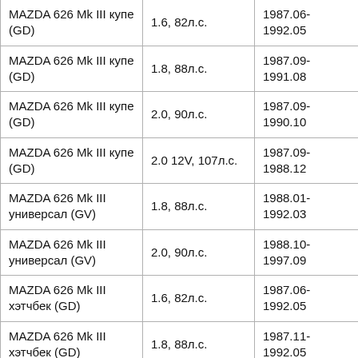| MAZDA 626 Mk III купе (GD) | 1.6, 82л.с. | 1987.06-1992.05 |
| MAZDA 626 Mk III купе (GD) | 1.8, 88л.с. | 1987.09-1991.08 |
| MAZDA 626 Mk III купе (GD) | 2.0, 90л.с. | 1987.09-1990.10 |
| MAZDA 626 Mk III купе (GD) | 2.0 12V, 107л.с. | 1987.09-1988.12 |
| MAZDA 626 Mk III универсал (GV) | 1.8, 88л.с. | 1988.01-1992.03 |
| MAZDA 626 Mk III универсал (GV) | 2.0, 90л.с. | 1988.10-1997.09 |
| MAZDA 626 Mk III хэтчбек (GD) | 1.6, 82л.с. | 1987.06-1992.05 |
| MAZDA 626 Mk III хэтчбек (GD) | 1.8, 88л.с. | 1987.11-1992.05 |
| MAZDA 626 Mk III хэтчбек (GD) | 1.8, 94л.с. | 1987.11-1992.05 |
| MAZDA 626 Mk III хэтчбек (GD) | 2.0, 90л.с. | 1987.09-1990.10 |
| MAZDA 626 Mk III хэтчбек (GD) | 2.0 12V, 107л.с. | 1987.11-1992.05 |